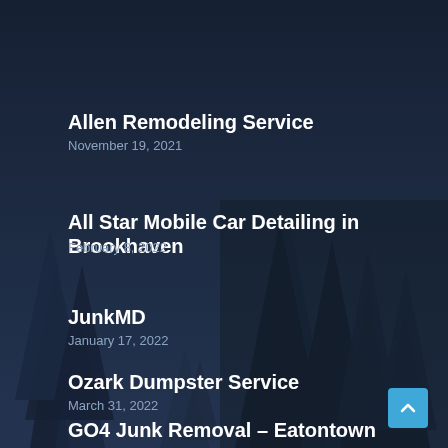[Figure (illustration): Dark blue night forest background with pine/fir trees silhouetted against a dark navy blue sky]
Allen Remodeling Service
November 19, 2021
All Star Mobile Car Detailing in Brookhaven
February 8, 2022
JunkMD
January 17, 2022
Ozark Dumpster Service
March 31, 2022
GO4 Junk Removal – Eatontown
June 16, 2022